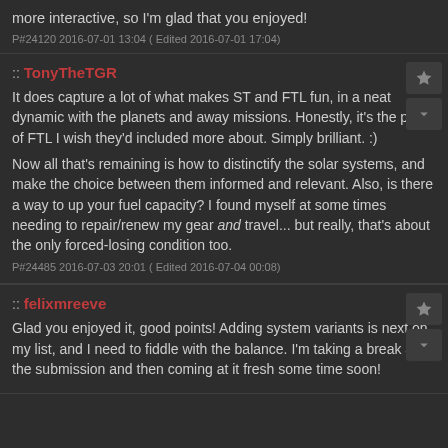more interactive, so I'm glad that you enjoyed!
P#24120 2016-07-01 13:04 ( Edited 2016-07-01 17:04)
:: TonyTheTGR
It does capture a lot of what makes ST and FTL fun, in a neat dynamic with the planets and away missions. Honestly, it's the part of FTL I wish they'd included more about. Simply brilliant. :)
Now all that's remaining is how to distinctify the solar systems, and make the choice between them informed and relevant. Also, is there a way to up your fuel capacity? I found myself at some times needing to repair/renew my gear and travel... but really, that's about the only forced-losing condition too.
P#24485 2016-07-03 20:01 ( Edited 2016-07-04 00:08)
:: felixmreeve
Glad you enjoyed it, good points! Adding system variants is next on my list, and I need to fiddle with the balance. I'm taking a break after the submission and then coming at it fresh some time soon!